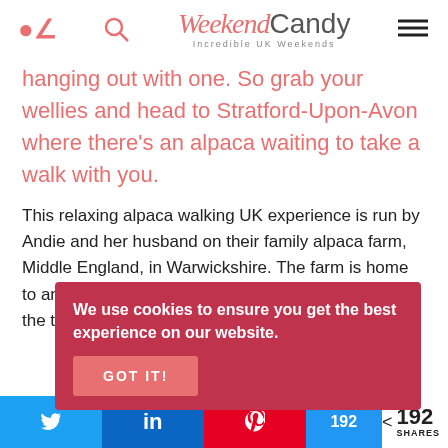WeekendCandy – Incredible UK Weekends
hanging out with one. So grab your wellies and head to Stratford-Upon-Avon where there's an alpaca waiting to take a walk with you.
This relaxing alpaca walking UK experience is run by Andie and her husband on their family alpaca farm, Middle England, in Warwickshire. The farm is home to an almighty 30 alpacas, 4 llamas (including Larry the tallest llama in th... Tamworth pigs, g...
We use cookies to ensure you get the best experience on our website. GOT IT!
< 192 SHARES